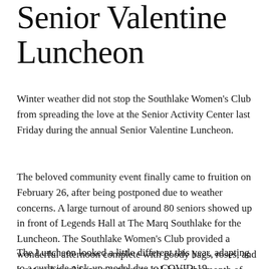Senior Valentine Luncheon
Winter weather did not stop the Southlake Women's Club from spreading the love at the Senior Activity Center last Friday during the annual Senior Valentine Luncheon.
The beloved community event finally came to fruition on February 26, after being postponed due to weather concerns. A large turnout of around 80 seniors showed up in front of Legends Hall at The Marq Southlake for the Luncheon. The Southlake Women's Club provided a wonderful afternoon complete with goody bags, roses, and a catered meal for our seniors to celebrate the month of love.
The Luncheon looked a little different this year, adapting to a curbside pick-up model due to COVID-19 restrictions.  However, that didn't stop our wonder